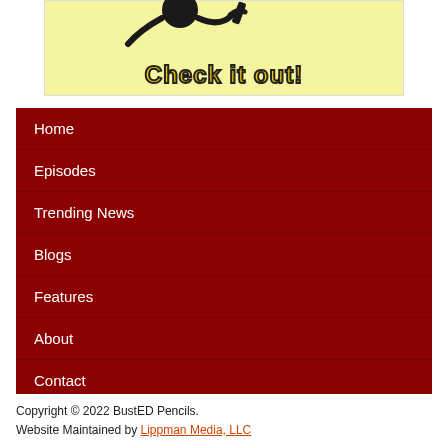[Figure (illustration): A banner image with a light yellow background featuring a cartoon character and bold text 'Check it out!' in yellow with dark outline.]
Home
Episodes
Trending News
Blogs
Features
About
Contact
Copyright © 2022 BustED Pencils.
Website Maintained by Lippman Media, LLC